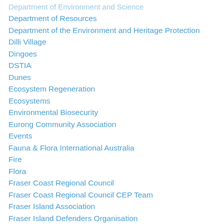Department of Environment and Science
Department of Resources
Department of the Environment and Heritage Protection
Dilli Village
Dingoes
DSTIA
Dunes
Ecosystem Regeneration
Ecosystems
Environmental Biosecurity
Eurong Community Association
Events
Fauna & Flora International Australia
Fire
Flora
Fraser Coast Regional Council
Fraser Coast Regional Council CEP Team
Fraser Island Association
Fraser Island Defenders Organisation
Gallery